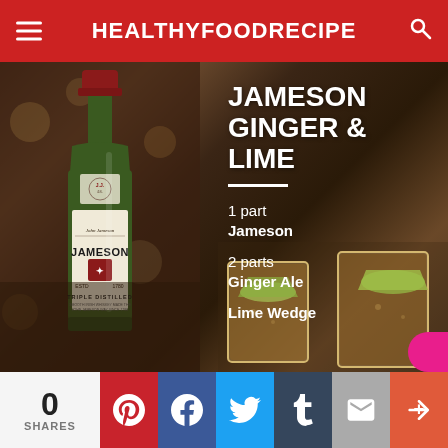HEALTHYFOODRECIPE
[Figure (photo): Jameson Irish Whiskey bottle with cocktail drinks with lime wedges in the background, bar setting]
JAMESON GINGER & LIME
1 part Jameson
2 parts Ginger Ale
Lime Wedge
0 SHARES
Pinterest, Facebook, Twitter, Tumblr, Email, More social share buttons